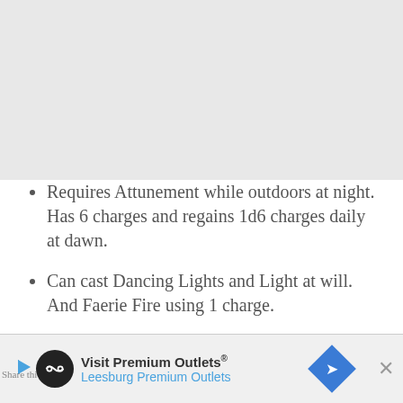[Figure (other): Gray placeholder image area at the top of the page]
Requires Attunement while outdoors at night. Has 6 charges and regains 1d6 charges daily at dawn.
Can cast Dancing Lights and Light at will. And Faerie Fire using 1 charge.
Expend 2 charges to create up to four balls of lightning. You can move them
[Figure (other): Advertisement banner at the bottom: Visit Premium Outlets® Leesburg Premium Outlets]